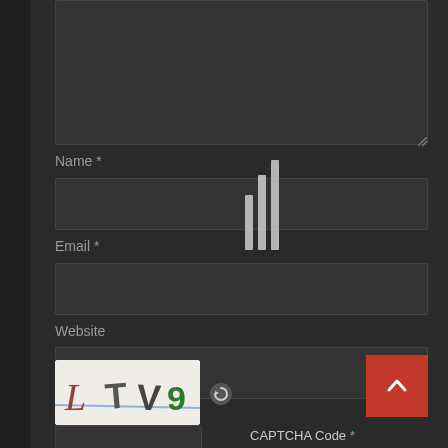[Figure (screenshot): Dark-themed web form showing a comment/contact form with fields for Name, Email, Website, a CAPTCHA image showing 'L TV9', a refresh icon, a red scroll-to-top button with chevron, and a CAPTCHA Code input field. Loading indicator lines visible in center.]
Name *
Email *
Website
CAPTCHA Code *